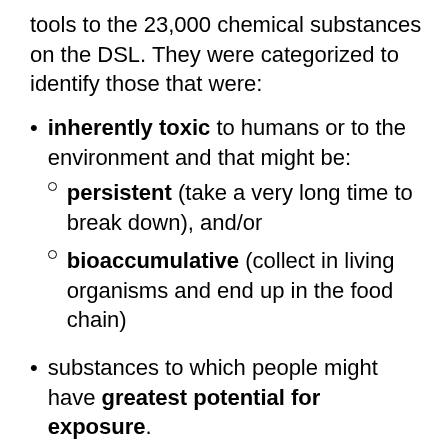tools to the 23,000 chemical substances on the DSL. They were categorized to identify those that were:
inherently toxic to humans or to the environment and that might be:
persistent (take a very long time to break down), and/or
bioaccumulative (collect in living organisms and end up in the food chain)
substances to which people might have greatest potential for exposure.
Many industrialized countries around the